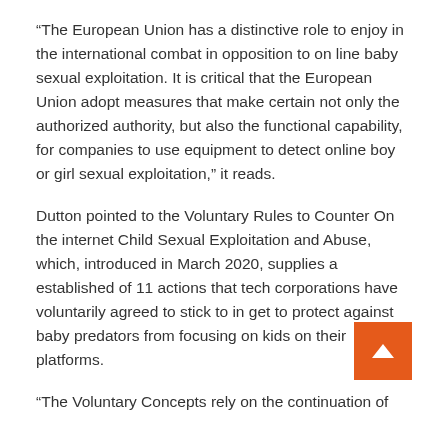“The European Union has a distinctive role to enjoy in the international combat in opposition to on line baby sexual exploitation. It is critical that the European Union adopt measures that make certain not only the authorized authority, but also the functional capability, for companies to use equipment to detect online boy or girl sexual exploitation,” it reads.
Dutton pointed to the Voluntary Rules to Counter On the internet Child Sexual Exploitation and Abuse, which, introduced in March 2020, supplies a established of 11 actions that tech corporations have voluntarily agreed to stick to in get to protect against baby predators from focusing on kids on their platforms.
“The Voluntary Concepts rely on the continuation of